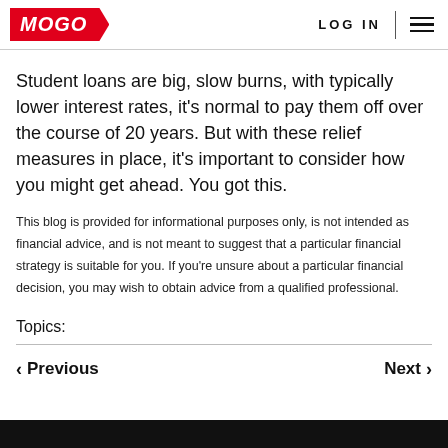MOGO | LOG IN
Student loans are big, slow burns, with typically lower interest rates, it’s normal to pay them off over the course of 20 years. But with these relief measures in place, it’s important to consider how you might get ahead. You got this.
This blog is provided for informational purposes only, is not intended as financial advice, and is not meant to suggest that a particular financial strategy is suitable for you. If you’re unsure about a particular financial decision, you may wish to obtain advice from a qualified professional.
Topics:
‹ Previous   Next ›